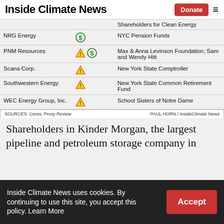Inside Climate News | Donate
| Company | Icons | Filer |
| --- | --- | --- |
|  |  | Shareholders for Clean Energy |
| NRG Energy | dollar | NYC Pension Funds |
| PNM Resources | warning dollar | Max & Anna Levinson Foundation; Sam and Wendy Hitt |
| Scana Corp. | warning | New York State Comptroller |
| Southwestern Energy | warning | New York State Common Retirement Fund |
| WEC Energy Group, Inc. | warning | School Sisters of Notre Dame |
SOURCES: Ceres; Proxy Review   PAUL HORN / InsideClimate News
Shareholders in Kinder Morgan, the largest pipeline and petroleum storage company in
Inside Climate News uses cookies. By continuing to use this site, you accept this policy. Learn More